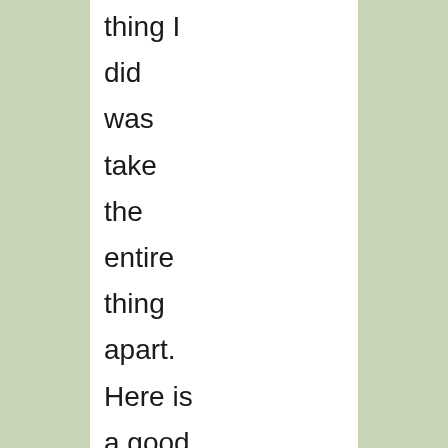thing I did was take the entire thing apart. Here is a good page with a description and pictures. The legs are moved with a complicated set of gears